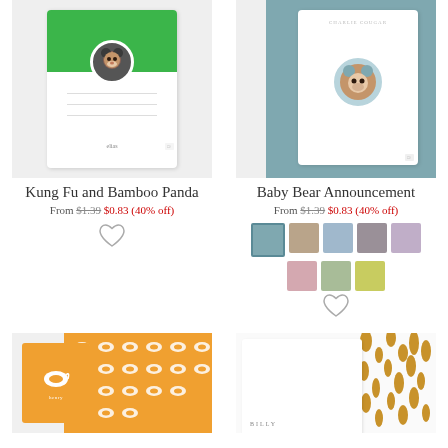[Figure (photo): Product card preview for Kung Fu and Bamboo Panda stationery - green header with circular baby photo]
[Figure (photo): Product card preview for Baby Bear Announcement stationery - teal/blue background with bear costume baby photo]
Kung Fu and Bamboo Panda
Baby Bear Announcement
From $1.39 $0.83 (40% off)
From $1.39 $0.83 (40% off)
[Figure (illustration): Heart/favorite icon for Kung Fu and Bamboo Panda]
[Figure (illustration): Color swatches for Baby Bear Announcement: teal, tan, blue, gray, lavender, pink, sage green, yellow-green]
[Figure (illustration): Heart/favorite icon for Baby Bear Announcement]
[Figure (photo): Partial product preview - whale pattern stationery in orange]
[Figure (photo): Partial product preview - giraffe spot pattern stationery with BILLY text]